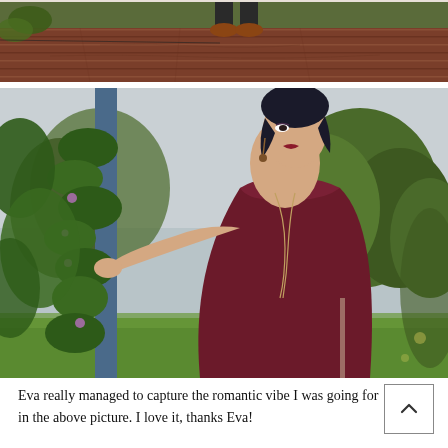[Figure (photo): Partial cropped photo showing a wooden deck/porch with a person's legs and brown shoes visible at the top, and some greenery/foliage at the sides. Dark reddish-brown wood planks dominate the scene.]
[Figure (photo): A woman in a dark burgundy/maroon halter-neck gown standing outdoors near a pole or column wrapped in green vines and leaves. She looks upward and to the side. Background shows green trees and an overcast sky. Garden setting, likely a wedding or formal event.]
Eva really managed to capture the romantic vibe I was going for in the above picture. I love it, thanks Eva!